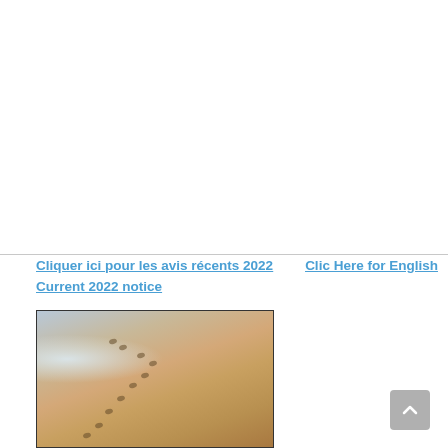Cliquer ici pour les avis récents 2022   Clic Here for English
Current 2022 notice
[Figure (photo): Beach photo showing sandy shore with small footprints leading toward ocean waves with foam at the waterline]
[Figure (other): Scroll-to-top button (grey rounded square with upward chevron)]